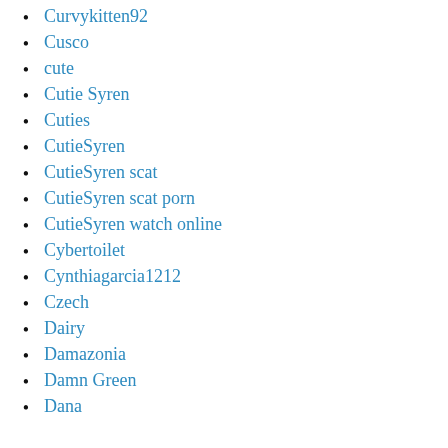Curvykitten92
Cusco
cute
Cutie Syren
Cuties
CutieSyren
CutieSyren scat
CutieSyren scat porn
CutieSyren watch online
Cybertoilet
Cynthiagarcia1212
Czech
Dairy
Damazonia
Damn Green
Dana